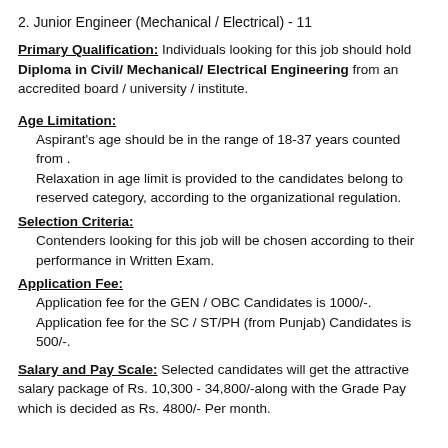2. Junior Engineer (Mechanical / Electrical) - 11
Primary Qualification: Individuals looking for this job should hold Diploma in Civil/ Mechanical/ Electrical Engineering from an accredited board / university / institute.
Age Limitation:
Aspirant's age should be in the range of 18-37 years counted from .
Relaxation in age limit is provided to the candidates belong to reserved category, according to the organizational regulation.
Selection Criteria:
Contenders looking for this job will be chosen according to their performance in Written Exam.
Application Fee:
Application fee for the GEN / OBC Candidates is 1000/-.
Application fee for the SC / ST/PH (from Punjab) Candidates is 500/-.
Salary and Pay Scale: Selected candidates will get the attractive salary package of Rs. 10,300 - 34,800/-along with the Grade Pay which is decided as Rs. 4800/- Per month.